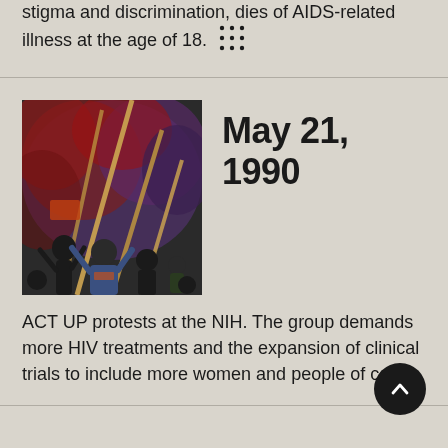stigma and discrimination, dies of AIDS-related illness at the age of 18.
[Figure (photo): Protest photo showing ACT UP demonstrators holding long poles/signs with red and purple smoke in background, crowd of protestors visible]
May 21, 1990
ACT UP protests at the NIH. The group demands more HIV treatments and the expansion of clinical trials to include more women and people of color.